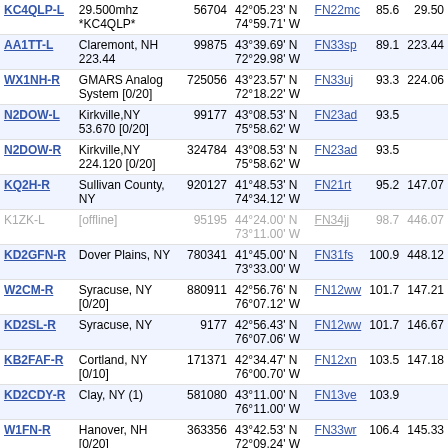| Callsign | Location/Info | ID | Coordinates | Grid | Dist | Freq |
| --- | --- | --- | --- | --- | --- | --- |
| KC4QLP-L | 29.500mhz *KC4QLP* | 56704 | 42°05.23' N 74°59.71' W | FN22mc | 85.6 | 29.50 |
| AA1TT-L | Claremont, NH 223.44 | 99875 | 43°39.69' N 72°29.98' W | FN33sp | 89.1 | 223.44 |
| WX1NH-R | GMARS Analog System [0/20] | 725056 | 43°23.57' N 72°18.22' W | FN33uj | 93.3 | 224.06 |
| N2DOW-L | Kirkville,NY 53.670 [0/20] | 99177 | 43°08.53' N 75°58.62' W | FN23ad | 93.5 |  |
| N2DOW-R | Kirkville,NY 224.120 [0/20] | 324784 | 43°08.53' N 75°58.62' W | FN23ad | 93.5 |  |
| KQ2H-R | Sullivan County, NY | 920127 | 41°48.53' N 74°34.12' W | FN21rt | 95.2 | 147.07 |
| K1ZK-L | [offline] | 95195 | 44°24.00' N 73°11.00' W | FN34jj | 98.7 | 446.07 |
| KD2GFN-R | Dover Plains, NY | 780341 | 41°45.00' N 73°33.00' W | FN31fs | 100.9 | 448.12 |
| W2CM-R | Syracuse, NY [0/20] | 880911 | 42°56.76' N 76°07.12' W | FN12ww | 101.7 | 147.21 |
| KD2SL-R | Syracuse, NY | 9177 | 42°56.43' N 76°07.06' W | FN12ww | 101.7 | 146.67 |
| KB2FAF-R | Cortland, NY [0/10] | 171371 | 42°34.47' N 76°00.70' W | FN12xn | 103.5 | 147.18 |
| KD2CDY-R | Clay, NY (1) | 581080 | 43°11.00' N 76°11.00' W | FN13ve | 103.9 |  |
| W1FN-R | Hanover, NH [0/20] | 363356 | 43°42.53' N 72°09.24' W | FN33wr | 106.4 | 145.33 |